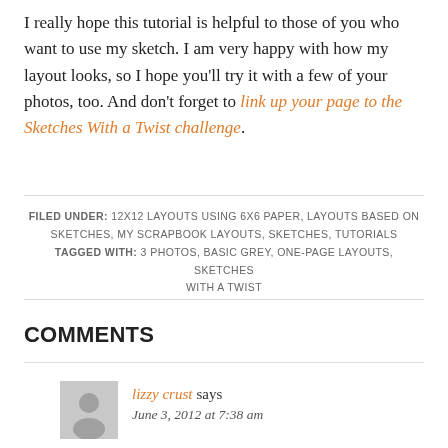I really hope this tutorial is helpful to those of you who want to use my sketch. I am very happy with how my layout looks, so I hope you'll try it with a few of your photos, too. And don't forget to link up your page to the Sketches With a Twist challenge.
FILED UNDER: 12X12 LAYOUTS USING 6X6 PAPER, LAYOUTS BASED ON SKETCHES, MY SCRAPBOOK LAYOUTS, SKETCHES, TUTORIALS TAGGED WITH: 3 PHOTOS, BASIC GREY, ONE-PAGE LAYOUTS, SKETCHES WITH A TWIST
COMMENTS
lizzy crust says June 3, 2012 at 7:38 am